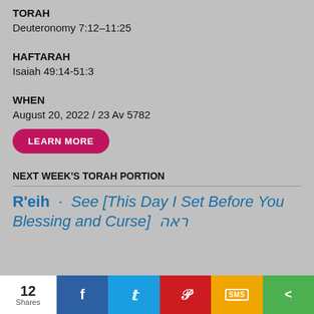TORAH
Deuteronomy 7:12–11:25
HAFTARAH
Isaiah 49:14-51:3
WHEN
August 20, 2022 / 23 Av 5782
LEARN MORE
NEXT WEEK'S TORAH PORTION
R'eih · See [This Day I Set Before You Blessing and Curse] ראה
12 Shares